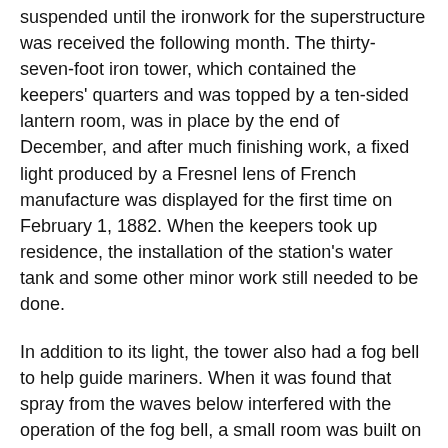suspended until the ironwork for the superstructure was received the following month. The thirty-seven-foot iron tower, which contained the keepers' quarters and was topped by a ten-sided lantern room, was in place by the end of December, and after much finishing work, a fixed light produced by a Fresnel lens of French manufacture was displayed for the first time on February 1, 1882. When the keepers took up residence, the installation of the station's water tank and some other minor work still needed to be done.
In addition to its light, the tower also had a fog bell to help guide mariners. When it was found that spray from the waves below interfered with the operation of the fog bell, a small room was built on the station's lower gallery in 1890 to house the bell's striking apparatus.
Jesse Marcellus W. Shockley had, by far, the longest stint as head keeper of Sharps Island Lighthouse, serving from 1904 into the 1930s. On more than one occasion, Keeper Shockley was commended for